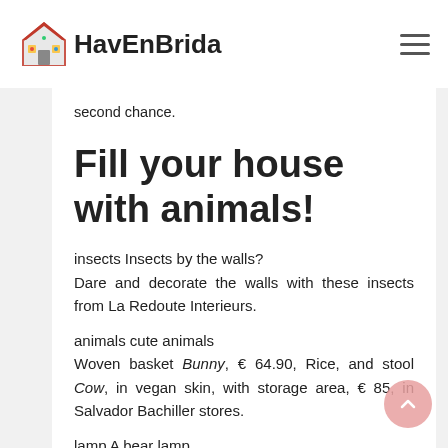HavEnBrida
second chance.
Fill your house with animals!
insects Insects by the walls? Dare and decorate the walls with these insects from La Redoute Interieurs.
animals cute animals Woven basket Bunny, € 64.90, Rice, and stool Cow, in vegan skin, with storage area, € 85, in Salvador Bachiller stores.
lamp A bear lamp Your son will have a roommate. It will